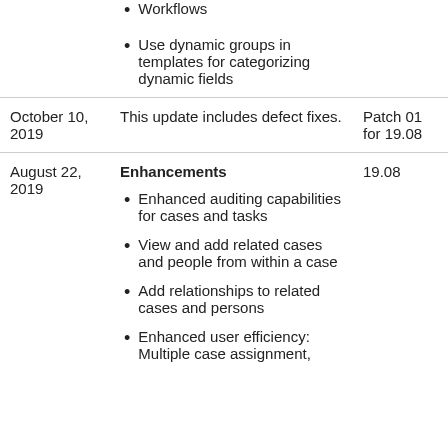Workflows
Use dynamic groups in templates for categorizing dynamic fields
| Date | Description | Version |
| --- | --- | --- |
| October 10, 2019 | This update includes defect fixes. | Patch 01 for 19.08 |
| August 22, 2019 | Enhancements
- Enhanced auditing capabilities for cases and tasks
- View and add related cases and people from within a case
- Add relationships to related cases and persons
- Enhanced user efficiency: Multiple case assignment, | 19.08 |